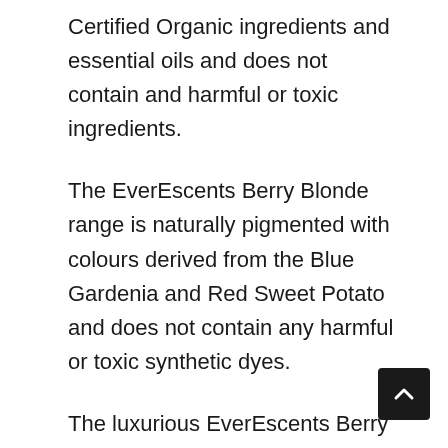Certified Organic ingredients and essential oils and does not contain and harmful or toxic ingredients.
The EverEscents Berry Blonde range is naturally pigmented with colours derived from the Blue Gardenia and Red Sweet Potato and does not contain any harmful or toxic synthetic dyes.
The luxurious EverEscents Berry Blonde range helps to reduce unwanted brassy, yellow tones for blonde and grey hair, with the added benefits of certified organic ingredients to help nourish th hair. The premium organic shampoo, conditioner